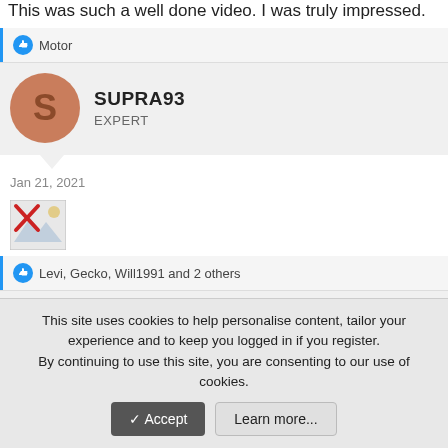This was such a well done video. I was truly impressed.
Motor
SUPRA93
EXPERT
Jan 21, 2021
[Figure (illustration): Broken image placeholder icon with red X]
Levi, Gecko, Will1991 and 2 others
MOTOR
EXPERT
This site uses cookies to help personalise content, tailor your experience and to keep you logged in if you register.
By continuing to use this site, you are consenting to our use of cookies.
Accept
Learn more...